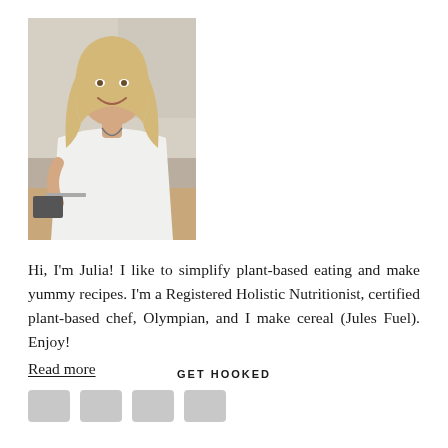[Figure (photo): A smiling woman with long blonde hair wearing a white t-shirt, sitting at a kitchen counter with fruits and a cutting board in front of her.]
Hi, I'm Julia! I like to simplify plant-based eating and make yummy recipes. I'm a Registered Holistic Nutritionist, certified plant-based chef, Olympian, and I make cereal (Jules Fuel). Enjoy!
Read more
GET HOOKED